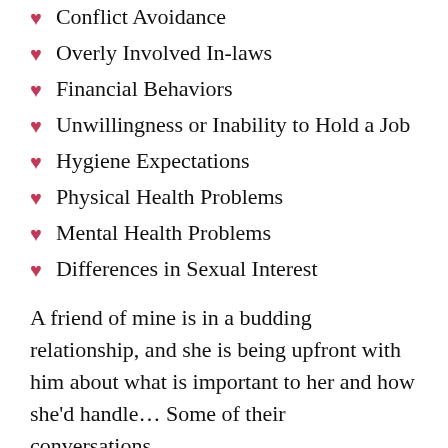Conflict Avoidance
Overly Involved In-laws
Financial Behaviors
Unwillingness or Inability to Hold a Job
Hygiene Expectations
Physical Health Problems
Mental Health Problems
Differences in Sexual Interest
A friend of mine is in a budding relationship, and she is being upfront with him about what is important to her and how she'd handle…Some of their conversations…